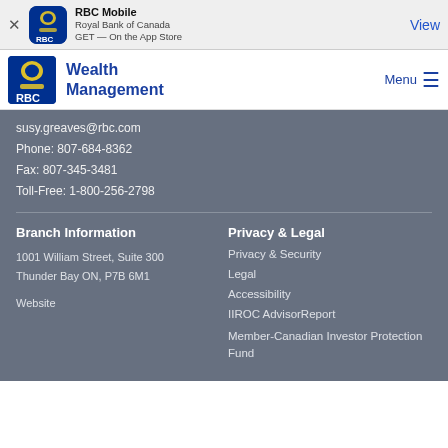[Figure (screenshot): RBC Mobile app store banner with app icon, name 'RBC Mobile', subtitle 'Royal Bank of Canada', 'GET — On the App Store', and 'View' button]
[Figure (logo): RBC Wealth Management logo with navigation menu icon]
susy.greaves@rbc.com
Phone: 807-684-8362
Fax: 807-345-3481
Toll-Free: 1-800-256-2798
Branch Information
1001 William Street, Suite 300
Thunder Bay ON, P7B 6M1

Website
Privacy & Legal
Privacy & Security
Legal
Accessibility
IIROC AdvisorReport
Member-Canadian Investor Protection Fund